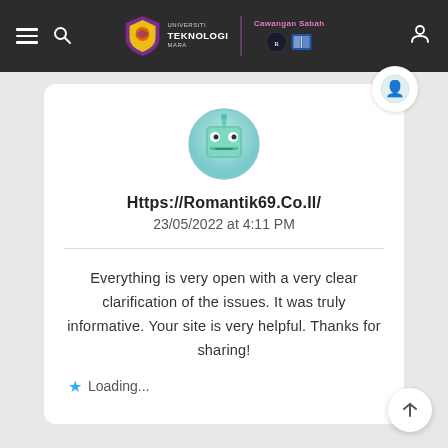Universiti Teknologi MARA | Cawangan Sabah
[Figure (screenshot): Green robot/block avatar icon with neutral face expression, circular framed profile image]
Https://Romantik69.Co.Il/
23/05/2022 at 4:11 PM
Everything is very open with a very clear clarification of the issues. It was truly informative. Your site is very helpful. Thanks for sharing!
★ Loading...